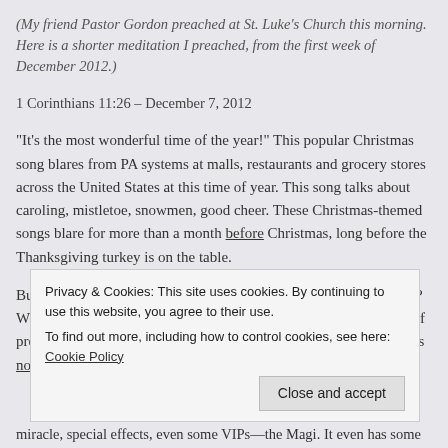(My friend Pastor Gordon preached at St. Luke's Church this morning. Here is a shorter meditation I preached, from the first week of December 2012.)
1 Corinthians 11:26 – December 7, 2012
“It’s the most wonderful time of the year!” This popular Christmas song blares from PA systems at malls, restaurants and grocery stores across the United States at this time of year. This song talks about caroling, mistletoe, snowmen, good cheer. These Christmas-themed songs blare for more than a month before Christmas, long before the Thanksgiving turkey is on the table.
But what about what comes before Christmas? What about Advent? Who remembers Advent, in our popular culture? Advent is a time of preparation. A time of waiting. A time of anticipation. But Advent is not honored or
miracle, special effects, even some VIPs—the Magi. It even has some
Privacy & Cookies: This site uses cookies. By continuing to use this website, you agree to their use.
To find out more, including how to control cookies, see here: Cookie Policy
Close and accept